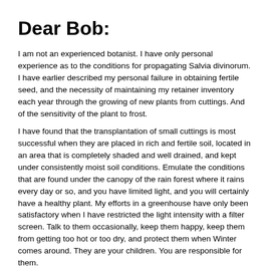Dear Bob:
I am not an experienced botanist. I have only personal experience as to the conditions for propagating Salvia divinorum. I have earlier described my personal failure in obtaining fertile seed, and the necessity of maintaining my retainer inventory each year through the growing of new plants from cuttings. And of the sensitivity of the plant to frost.
I have found that the transplantation of small cuttings is most successful when they are placed in rich and fertile soil, located in an area that is completely shaded and well drained, and kept under consistently moist soil conditions. Emulate the conditions that are found under the canopy of the rain forest where it rains every day or so, and you have limited light, and you will certainly have a healthy plant. My efforts in a greenhouse have only been satisfactory when I have restricted the light intensity with a filter screen. Talk to them occasionally, keep them happy, keep them from getting too hot or too dry, and protect them when Winter comes around. They are your children. You are responsible for them.
-- Dr. Shulgin
Editors Note: For a good book on growing Salvia divinorum, see the Salvia Divinorum Grower's Guide.
Disclaimer: Manufacturing or possessing outlawed drugs is a crime that can result in a lengthy term of imprisonment and significant fines. The Center for Cognitive Liberty & Ethics and Dr. Shulgin are not engaged in rendering legal or other